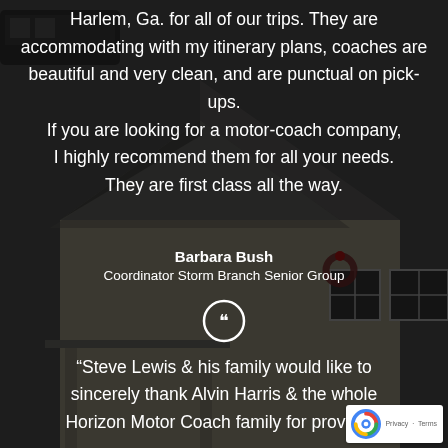[Figure (photo): Dark-toned background photo showing a building with a peaked roof, windows with a Christmas wreath, and part of a motor coach visible in the upper left. The image is overlaid with a dark semi-transparent filter.]
Harlem, Ga. for all of our trips. They are accommodating with my itinerary plans, coaches are beautiful and very clean, and are punctual on pick-ups. If you are looking for a motor-coach company, I highly recommend them for all your needs. They are first class all the way.
Barbara Bush
Coordinator Storm Branch Senior Group
“Steve Lewis & his family would like to sincerely thank Alvin Harris & the whole Horizon Motor Coach family for providing